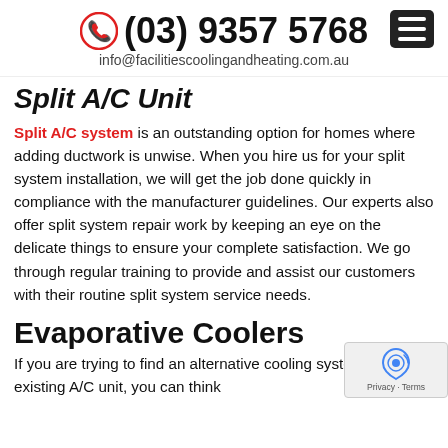(03) 9357 5768
info@facilitiescoolingandheating.com.au
Split A/C Unit
Split A/C system is an outstanding option for homes where adding ductwork is unwise. When you hire us for your split system installation, we will get the job done quickly in compliance with the manufacturer guidelines. Our experts also offer split system repair work by keeping an eye on the delicate things to ensure your complete satisfaction. We go through regular training to provide and assist our customers with their routine split system service needs.
Evaporative Coolers
If you are trying to find an alternative cooling system to your existing A/C unit, you can think